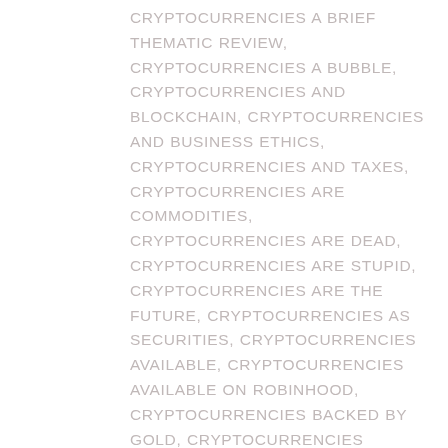CRYPTOCURRENCIES A BRIEF THEMATIC REVIEW, CRYPTOCURRENCIES A BUBBLE, CRYPTOCURRENCIES AND BLOCKCHAIN, CRYPTOCURRENCIES AND BUSINESS ETHICS, CRYPTOCURRENCIES AND TAXES, CRYPTOCURRENCIES ARE COMMODITIES, CRYPTOCURRENCIES ARE DEAD, CRYPTOCURRENCIES ARE STUPID, CRYPTOCURRENCIES ARE THE FUTURE, CRYPTOCURRENCIES AS SECURITIES, CRYPTOCURRENCIES AVAILABLE, CRYPTOCURRENCIES AVAILABLE ON ROBINHOOD, CRYPTOCURRENCIES BACKED BY GOLD, CRYPTOCURRENCIES BEFORE BITCOIN, CRYPTOCURRENCIES BITCOIN, CRYPTOCURRENCIES BLOCKCHAIN, CRYPTOCURRENCIES BLOG, CRYPTOCURRENCIES BOOK, CRYPTOCURRENCIES BUBBLE, CRYPTOCURRENCIES BY COUNTRY, CRYPTOCURRENCIES BY MARKET CAP, CRYPTOCURRENCIES BY VOLUME, CRYPTOCURRENCIES CALCULATOR, CRYPTOCURRENCIES CHARTS, CRYPTOCURRENCIES CHINA, CRYPTOCURRENCIES COINBASE, CRYPTOCURRENCIES COMMODITIES, CRYPTOCURRENCIES COMPANIES, CRYPTOCURRENCIES COMPARED, CRYPTOCURRENCIES CRASHING, CRYPTOCURRENCIES CRASHING TODAY,